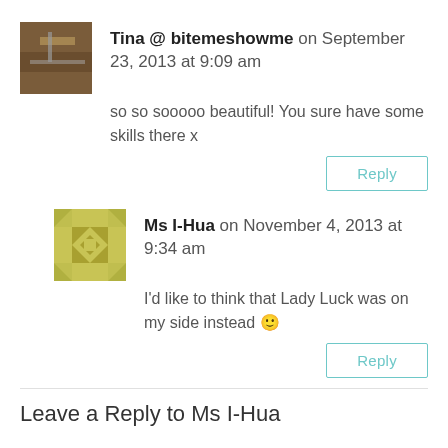Tina @ bitemeshowme on September 23, 2013 at 9:09 am
so so sooooo beautiful! You sure have some skills there x
Reply
Ms I-Hua on November 4, 2013 at 9:34 am
I'd like to think that Lady Luck was on my side instead 🙂
Reply
Leave a Reply to Ms I-Hua